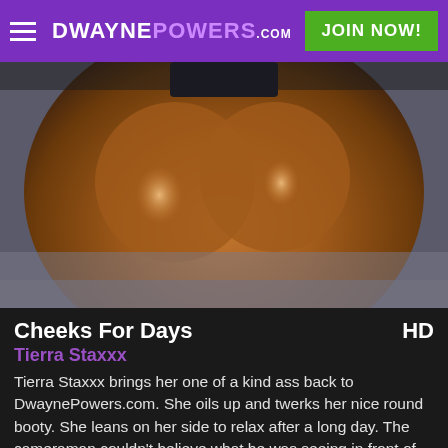DWAYNE POWERS .com | JOIN NOW!
[Figure (photo): Close-up photo used as video thumbnail on adult content website]
Cheeks For Days HD
Tierra Staxxx
Tierra Staxxx brings her one of a kind ass back to DwaynePowers.com. She oils up and twerks her nice round booty. She leans on her side to relax after a long day. The cameraman couldn't believe what he was seeing in front of him.